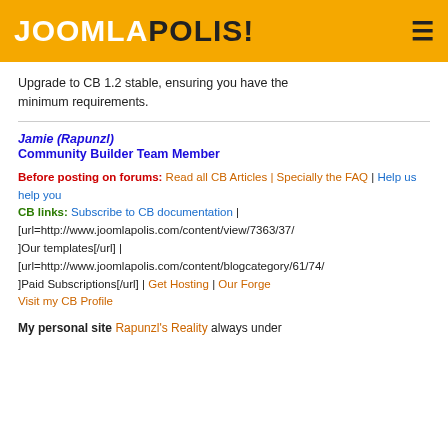JOOMLAPOLIS!
Upgrade to CB 1.2 stable, ensuring you have the minimum requirements.
Jamie (Rapunzl)
Community Builder Team Member
Before posting on forums: Read all CB Articles | Specially the FAQ | Help us help you
CB links: Subscribe to CB documentation | [url=http://www.joomlapolis.com/content/view/7363/37/]Our templates[/url] | [url=http://www.joomlapolis.com/content/blogcategory/61/74/]Paid Subscriptions[/url] | Get Hosting | Our Forge
Visit my CB Profile
My personal site Rapunzl's Reality always under